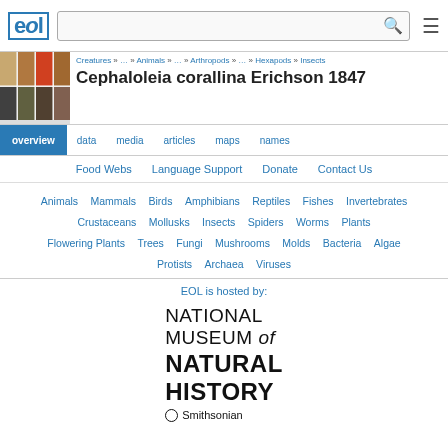EOL | [search bar] | menu
Creatures » … » Animals » … » Arthropods » … » Hexapods » Insects
Cephaloleia corallina Erichson 1847
overview  data  media  articles  maps  names
Food Webs   Language Support   Donate   Contact Us
Animals  Mammals  Birds  Amphibians  Reptiles  Fishes  Invertebrates  Crustaceans  Mollusks  Insects  Spiders  Worms  Plants  Flowering Plants  Trees  Fungi  Mushrooms  Molds  Bacteria  Algae  Protists  Archaea  Viruses
EOL is hosted by:
[Figure (logo): National Museum of Natural History, Smithsonian logo]